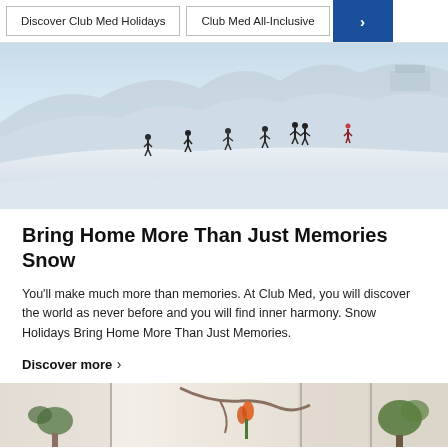Discover Club Med Holidays | Club Med All-Inclusive | >
[Figure (photo): Panoramic snow mountain scene with several people walking/skiing across a wide snowy slope under a pale sky]
Bring Home More Than Just Memories Snow
You'll make much more than memories. At Club Med, you will discover the world as never before and you will find inner harmony. Snow Holidays Bring Home More Than Just Memories.
Discover more ›
[Figure (photo): Interior resort scene showing tropical plants, orange flowers, and natural window light in a bright airy room]